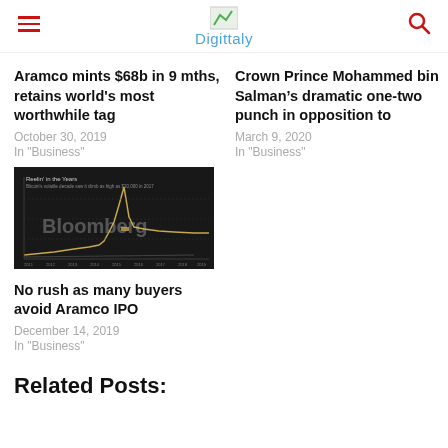Digittaly
Aramco mints $68b in 9 mths, retains world's most worthwhile tag
October 30, 2019
In "Business"
Crown Prince Mohammed bin Salman’s dramatic one-two punch in opposition to
March 9, 2020
In "Business"
[Figure (screenshot): Bloomberg branded dark-background chart titled 'Reelin' in the Years' showing Bitcoin's volatile price history climbing to high of $20,000 in 2017]
No rush as many buyers avoid Aramco IPO
December 14, 2019
In "Business"
Related Posts: